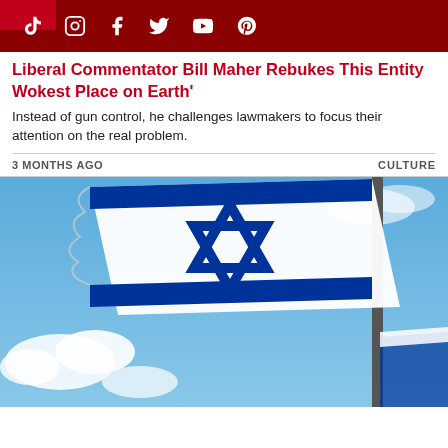Social media icons bar: TikTok, Instagram, Facebook, Twitter, YouTube, Pinterest
Liberal Commentator Bill Maher Rebukes This Entity as 'The Wokest Place on Earth'
Instead of gun control, he challenges lawmakers to focus their attention on the real problem.
3 MONTHS AGO
CULTURE
[Figure (photo): Israeli flag with Star of David waving against a blue sky with clouds, photographed from below at an angle. A flag pole is visible on the right side. The flag is white with blue stripes and a blue Star of David in the center. Another flag is partially visible at lower right.]